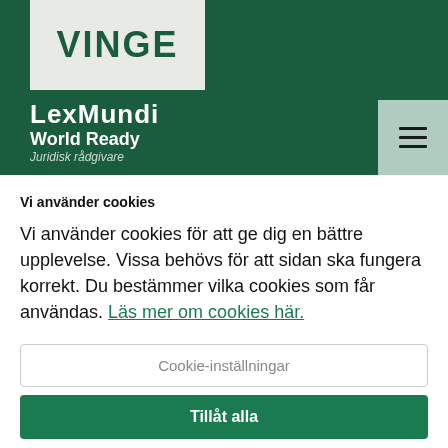[Figure (screenshot): Vinge law firm website header with dark green background. White box contains 'VINGE' logo in dark green. LexMundi World Ready logo and 'Juridisk rådgivare' text in white. Hamburger menu icon on right side in light teal box.]
Vi använder cookies
Vi använder cookies för att ge dig en bättre upplevelse. Vissa behövs för att sidan ska fungera korrekt. Du bestämmer vilka cookies som får användas. Läs mer om cookies här.
Cookie-inställningar
Tillåt alla